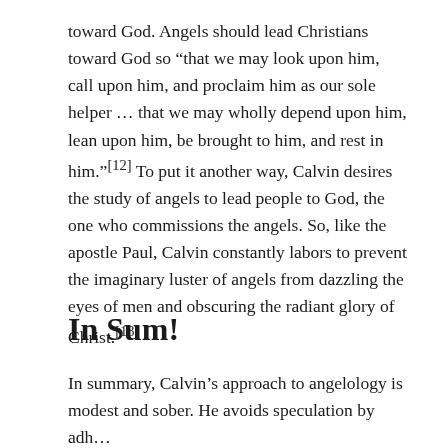toward God. Angels should lead Christians toward God so “that we may look upon him, call upon him, and proclaim him as our sole helper…that we may wholly depend upon him, lean upon him, be brought to him, and rest in him.”[12] To put it another way, Calvin desires the study of angels to lead people to God, the one who commissions the angels. So, like the apostle Paul, Calvin constantly labors to prevent the imaginary luster of angels from dazzling the eyes of men and obscuring the radiant glory of Christ.[13]
In Sum!
In summary, Calvin’s approach to angelology is modest and sober. He avoids speculation by adh…